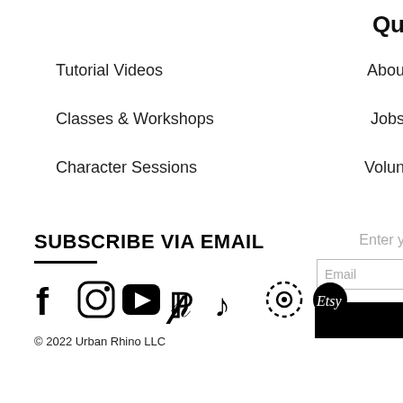Qu
Tutorial Videos
Classes & Workshops
Character Sessions
Abou
Jobs
Volun
SUBSCRIBE VIA EMAIL
Enter y
Email
[Figure (infographic): Social media icons: Facebook, Instagram, YouTube, Pinterest, TikTok, a circular icon, and Etsy]
© 2022 Urban Rhino LLC